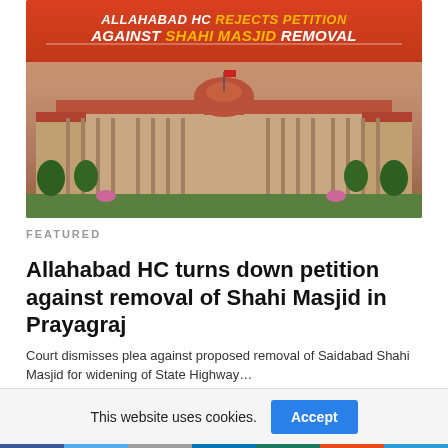[Figure (photo): News article hero image showing Allahabad High Court building with orange/red banner overlay text reading 'ALLAHABAD HC REJECTS PETITION AGAINST SHAHI MASJID REMOVAL']
FEATURED
Allahabad HC turns down petition against removal of Shahi Masjid in Prayagraj
Court dismisses plea against proposed removal of Saidabad Shahi Masjid for widening of State Highway…
This website uses cookies.
Accept